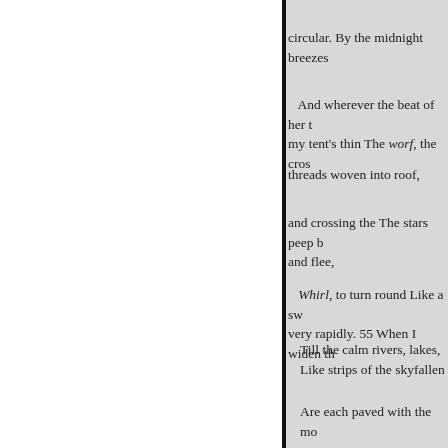circular. By the midnight breezes
And wherever the beat of her t my tent's thin The worf, the cros
threads woven into roof,
and crossing the The stars peep b and flee,
Whirl, to turn round Like a sw very rapidly. 55 When I widen th
Till the calm rivers, lakes, Like strips of the skyfallen
Are each paved with the mo
allusion is made to I bind the su ap60 And the moon's * with a gi tipped clouds,